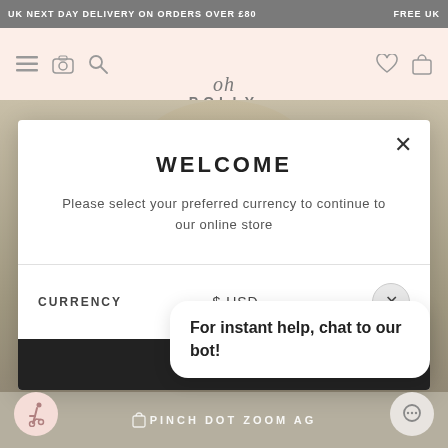UK NEXT DAY DELIVERY ON ORDERS OVER £80   FREE UK
[Figure (logo): Oh Polly logo with hamburger menu, camera, and search icons on left; heart and bag icons on right]
WELCOME
Please select your preferred currency to continue to our online store
CURRENCY   $ USD ∨
For instant help, chat to our bot!
PINCH DOT ZOOM AG